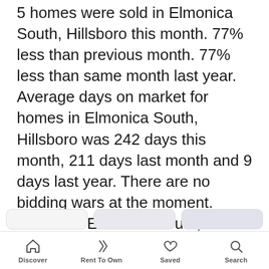5 homes were sold in Elmonica South, Hillsboro this month. 77% less than previous month. 77% less than same month last year. Average days on market for homes in Elmonica South, Hillsboro was 242 days this month, 211 days last month and 9 days last year. There are no bidding wars at the moment. Homes in Elmonica South, Hillsboro are selling close to the asking price in the last three months.
[Figure (other): Orange rounded button labeled 'Show More Info' with a trend chart icon]
Discover | Rent To Own | Saved | Search